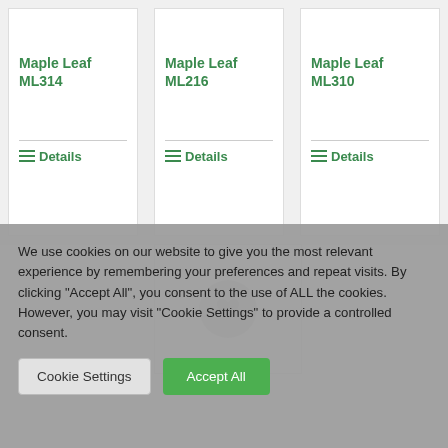Maple Leaf ML314
Maple Leaf ML216
Maple Leaf ML310
[Figure (screenshot): Partial product card with heart/wishlist icon button visible]
We use cookies on our website to give you the most relevant experience by remembering your preferences and repeat visits. By clicking "Accept All", you consent to the use of ALL the cookies. However, you may visit "Cookie Settings" to provide a controlled consent.
Cookie Settings
Accept All